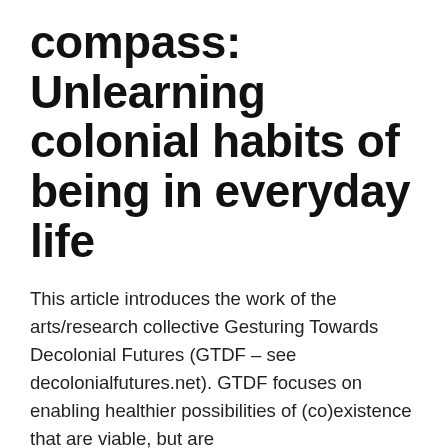compass: Unlearning colonial habits of being in everyday life
This article introduces the work of the arts/research collective Gesturing Towards Decolonial Futures (GTDF – see decolonialfutures.net). GTDF focuses on enabling healthier possibilities of (co)existence that are viable, but are unthinkable/unimaginable within our dominant frames of reference. This article presents the decolonial perspective that grounds the work of